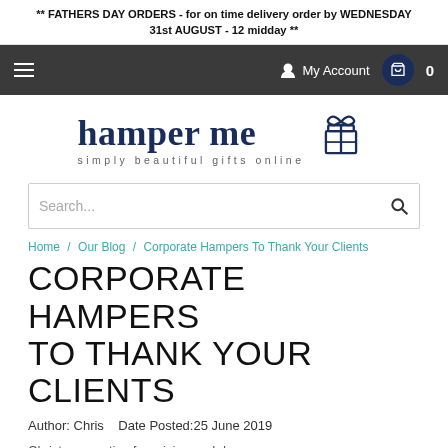** FATHERS DAY ORDERS - for on time delivery order by WEDNESDAY 31st AUGUST - 12 midday **
[Figure (screenshot): Dark navigation bar with hamburger menu, My Account link, and shopping cart icon showing 0 items]
[Figure (logo): hamper me logo with gift box icon and tagline 'simply beautiful gifts online']
[Figure (screenshot): Search bar with placeholder text 'Search...' and magnifying glass icon]
Home / Our Blog / Corporate Hampers To Thank Your Clients
CORPORATE HAMPERS TO THANK YOUR CLIENTS
Author: Chris   Date Posted:25 June 2019
Christmas parties for raising and d...